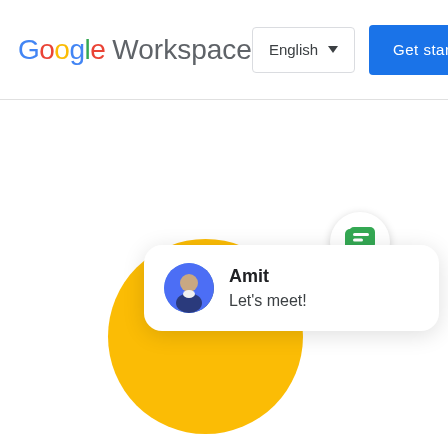[Figure (logo): Google Workspace logo with multicolor Google letters and gray Workspace text]
[Figure (screenshot): Navigation bar with English language dropdown and blue Get started button]
[Figure (illustration): Google Chat notification card showing user Amit with message Let's meet!, overlapping a yellow circle. Green chat bubble icon in top right.]